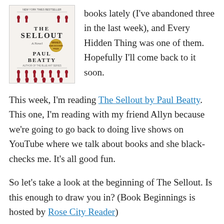[Figure (illustration): Book cover of 'The Sellout' by Paul Beatty, showing red and white illustrated figures on a white background, with a gold award medal.]
books lately (I've abandoned three in the last week), and Every Hidden Thing was one of them. Hopefully I'll come back to it soon.
This week, I'm reading The Sellout by Paul Beatty. This one, I'm reading with my friend Allyn because we're going to go back to doing live shows on YouTube where we talk about books and she black-checks me. It's all good fun.
So let's take a look at the beginning of The Sellout. Is this enough to draw you in? (Book Beginnings is hosted by Rose City Reader)